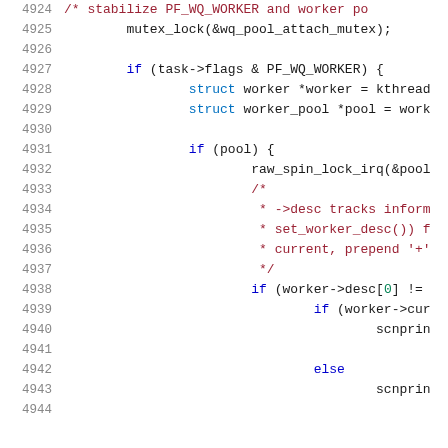[Figure (screenshot): Source code listing showing C code with line numbers 4924–4944. Code includes mutex lock, PF_WQ_WORKER flag check, struct declarations, spin lock, comment about ->desc tracking, and conditional scnprintf calls.]